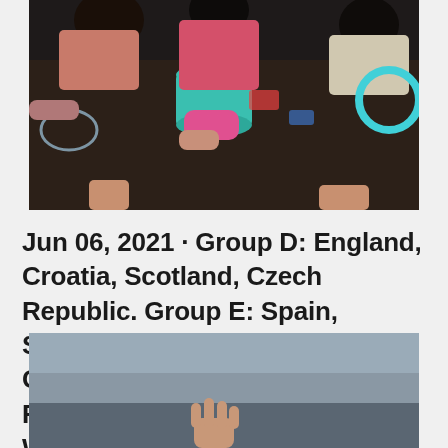[Figure (photo): Overhead view of children sitting around a table with colorful cups and items, viewed from above]
Jun 06, 2021 · Group D: England, Croatia, Scotland, Czech Republic. Group E: Spain, Sweden, Poland, Slovakia. Group F: Hungary, Portugal, France, Germany. Q) WHERE WILL EURO 2020 TAKE PLACE? Euro 2020 will be
[Figure (photo): Person with arm raised against a gray sky background, partial view from below]